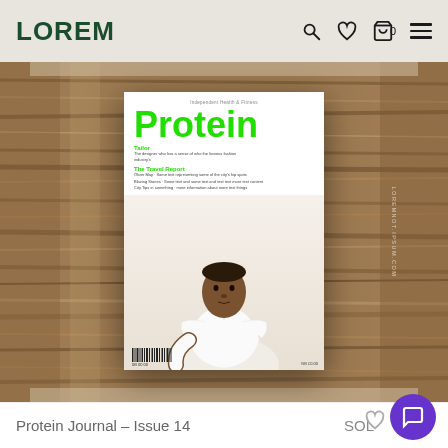LOREM
[Figure (photo): E-commerce product page screenshot showing a magazine titled 'Protein' Issue 14 displayed on a wooden textured background. The magazine cover shows the word 'Protein' in large green text, subtitles including 'Tailor' and 'The Travel Report', and a portrait photo of a young Black man in a white polo shirt.]
Protein Journal – Issue 14
SOLD